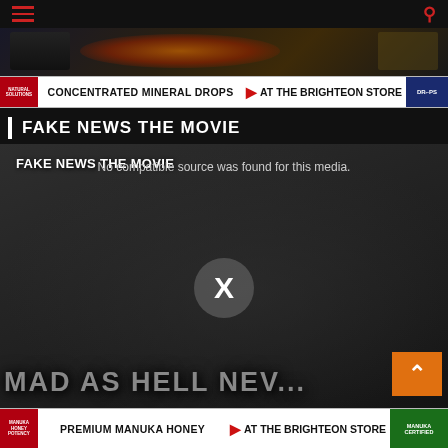[Figure (screenshot): Top banner advertisement image with dark gradient and glowing elements]
[Figure (screenshot): Advertisement banner: CONCENTRATED MINERAL DROPS AT THE BRIGHTEON STORE]
FAKE NEWS THE MOVIE
[Figure (screenshot): Video player showing FAKE NEWS THE MOVIE with error message: No compatible source was found for this media. Large X icon in center. Bottom text shows MAD AS HELL NEW... Orange back-to-top button.]
[Figure (screenshot): Bottom advertisement banner: PREMIUM MANUKA HONEY AT THE BRIGHTEON STORE]